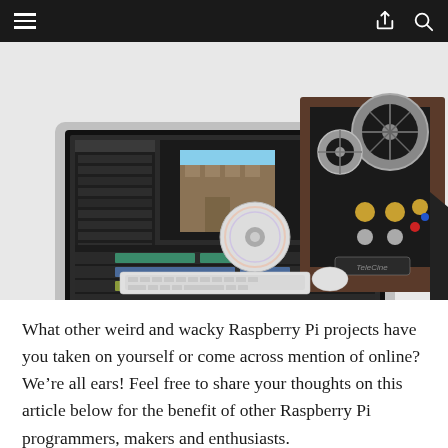Navigation bar with hamburger menu, share icon, and search icon
[Figure (photo): A photo showing an iMac computer running Adobe Premiere Pro video editing software, alongside a TeleCine film reel-to-reel device with reels, knobs and controls on a wooden panel.]
What other weird and wacky Raspberry Pi projects have you taken on yourself or come across mention of online? We're all ears! Feel free to share your thoughts on this article below for the benefit of other Raspberry Pi programmers, makers and enthusiasts.